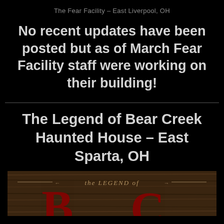The Fear Facility – East Liverpool, OH
No recent updates have been posted but as of March Fear Facility staff were working on their building!
The Legend of Bear Creek Haunted House – East Sparta, OH
[Figure (photo): Partial image of The Legend of Bear Creek Haunted House logo/sign with dark textured background showing 'the LEGEND of' text in gothic style]